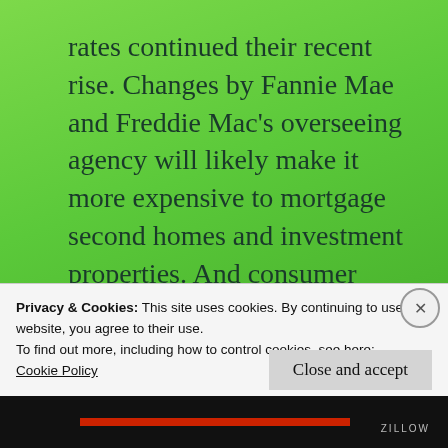rates continued their recent rise. Changes by Fannie Mae and Freddie Mac's overseeing agency will likely make it more expensive to mortgage second homes and investment properties. And consumer optimism is finally showing signs of improvement," Zillow Market Pulse: March 12, 2021,
Privacy & Cookies: This site uses cookies. By continuing to use this website, you agree to their use.
To find out more, including how to control cookies, see here:
Cookie Policy
Close and accept